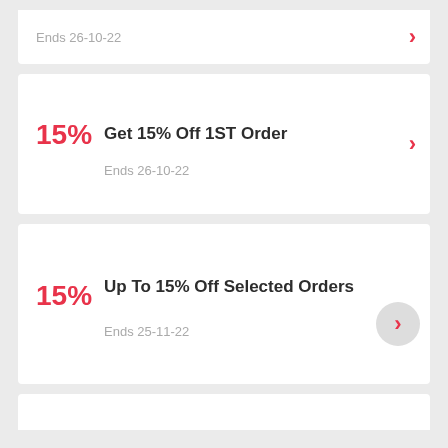Ends 26-10-22
15%
Get 15% Off 1ST Order
Ends 26-10-22
15%
Up To 15% Off Selected Orders
Ends 25-11-22